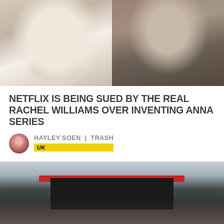[Figure (photo): Two photos side by side: left shows a woman in white eating pizza, right shows a woman with long brown hair in a plaid jacket]
NETFLIX IS BEING SUED BY THE REAL RACHEL WILLIAMS OVER INVENTING ANNA SERIES
HAYLEY SOEN | TRASH
UK
[Figure (photo): Large crowd at an outdoor music festival, with a stage visible in the background featuring a red canopy, under overcast skies]